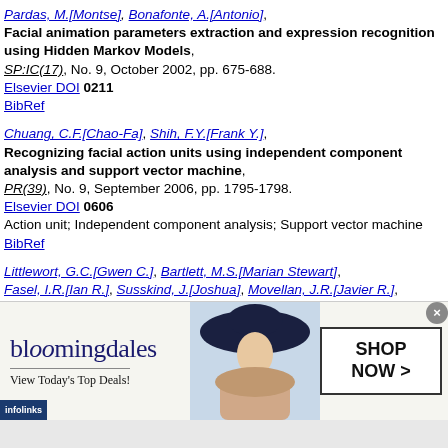Pardas, M.[Montse], Bonafonte, A.[Antonio], Facial animation parameters extraction and expression recognition using Hidden Markov Models, SP:IC(17), No. 9, October 2002, pp. 675-688. Elsevier DOI 0211 BibRef
Chuang, C.F.[Chao-Fa], Shih, F.Y.[Frank Y.], Recognizing facial action units using independent component analysis and support vector machine, PR(39), No. 9, September 2006, pp. 1795-1798. Elsevier DOI 0606 Action unit; Independent component analysis; Support vector machine BibRef
Littlewort, G.C.[Gwen C.], Bartlett, M.S.[Marian Stewart], Fasel, I.R.[Ian R.], Susskind, J.[Joshua], Movellan, J.R.[Javier R.], Dynamics of Facial Expression Extracted Automatically from Video...
[Figure (other): Bloomingdale's advertisement banner showing the Bloomingdale's logo, 'View Today's Top Deals!' tagline, a woman with a large hat, and a 'SHOP NOW >' button.]